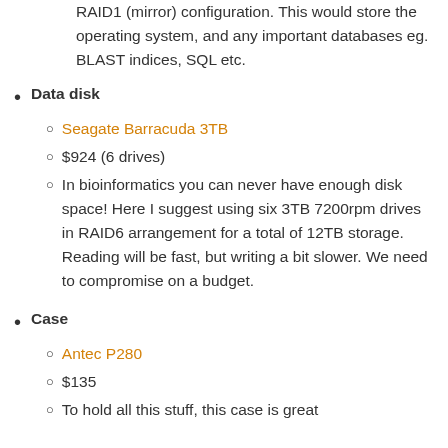RAID1 (mirror) configuration. This would store the operating system, and any important databases eg. BLAST indices, SQL etc.
Data disk
Seagate Barracuda 3TB
$924 (6 drives)
In bioinformatics you can never have enough disk space! Here I suggest using six 3TB 7200rpm drives in RAID6 arrangement for a total of 12TB storage. Reading will be fast, but writing a bit slower. We need to compromise on a budget.
Case
Antec P280
$135
To hold all this stuff, this case is great